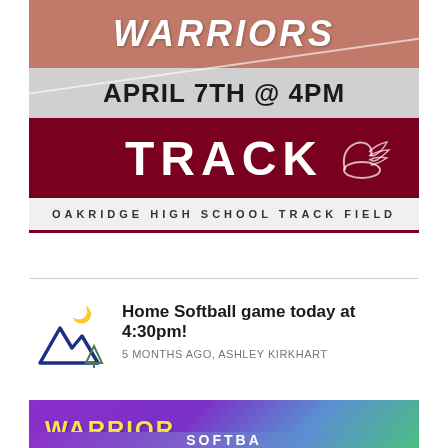[Figure (infographic): Warriors Track event banner showing 'WARRIORS' text on terracotta track background, date 'APRIL 7TH @ 4PM' on gray band, 'TRACK' in white bold on dark maroon band with winged shoe icon, and location 'OAKRIDGE HIGH SCHOOL TRACK FIELD' on light gray strip with maroon border]
Home Softball game today at 4:30pm!
5 MONTHS AGO, ASHLEY KIRKHART
[Figure (infographic): Warrior softball event banner with purple/green gradient background, 'WARRIOR' in yellow bold text and partial white bold text below (cut off at bottom of page)]